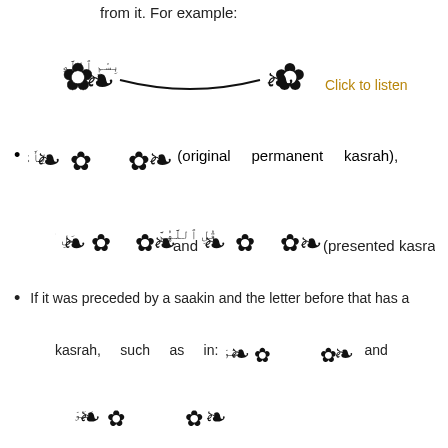from it. For example:
[Figure (illustration): Arabic Bismillah text with ornamental brackets and decorative rosettes on each side, with 'Click to listen' link in brown/gold color to the right]
(original permanent kasrah),
[Figure (illustration): Arabic text li-amri-llahi in ornamental brackets]
[Figure (illustration): Arabic text bal-lillahi and qul-Allahumma in ornamental brackets, with label '(presented kasrah).']
If it was preceded by a saakin and the letter before that has a kasrah, such as in: and
[Figure (illustration): Arabic text fasawfa ya'ti Allahu in ornamental brackets]
[Figure (illustration): Arabic text fasawfa ya'ti Allahu in ornamental brackets (second instance)]